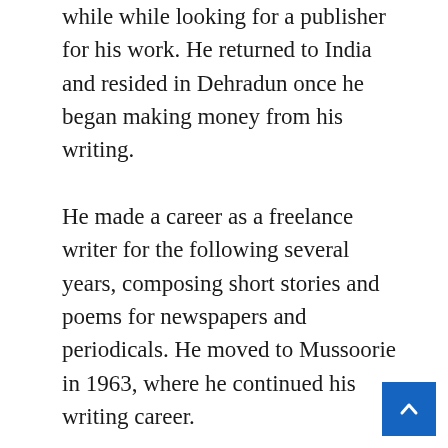while while looking for a publisher for his work. He returned to India and resided in Dehradun once he began making money from his writing. He made a career as a freelance writer for the following several years, composing short stories and poems for newspapers and periodicals. He moved to Mussoorie in 1963, where he continued his writing career. By this time, he was a well-known writer, with essays and articles appearing in publications such as ‘The Pioneer,’ ‘The Leader,’ ‘The Tribune,’ and ‘The Telegraph.’ He also spent four years as the editor of a magazine. The Blue Umbrella, one of his most successf novels, was published in 1980. Penguin Books